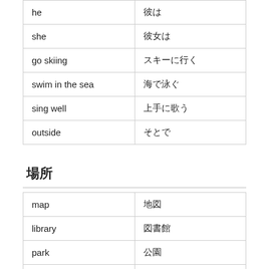| he | 彼は |
| she | 彼女は |
| go skiing | スキーに行く |
| swim in the sea | 海で泳ぐ |
| sing well | 上手に歌う |
| outside | そとで |
場所
| map | 地図 |
| library | 図書館 |
| park | 公園 |
| hospital | 病院 |